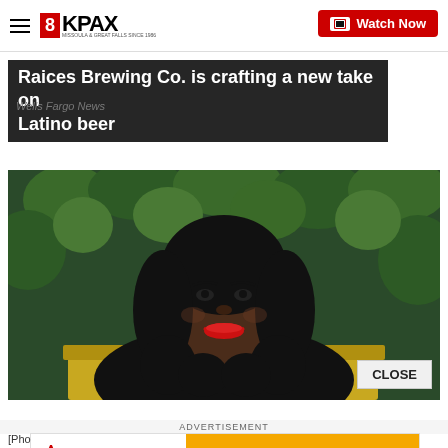8KPAX | Watch Now
Raices Brewing Co. is crafting a new take on Latino beer
Wells Fargo News
[Figure (photo): Woman smiling in front of green foliage background, wearing black sparkly outfit with red lipstick]
CLOSE
ADVERTISEMENT
[Figure (logo): Allegiant / a Cigna Company advertisement banner with orange background]
[Pho